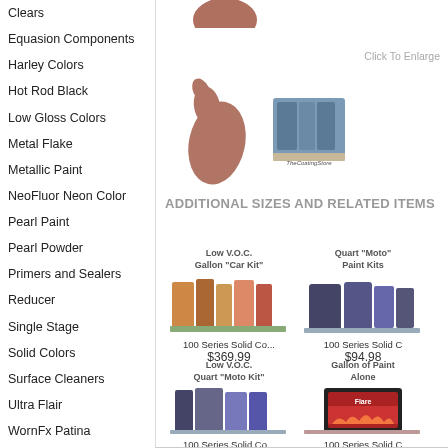Clears
Equasion Components
Harley Colors
Hot Rod Black
Low Gloss Colors
Metal Flake
Metallic Paint
NeoFluor Neon Color
Pearl Paint
Pearl Powder
Primers and Sealers
Reducer
Single Stage
Solid Colors
Surface Cleaners
Ultra Flair
WornFx Patina
Pop Culture Colors
[Figure (photo): Paint product blob/droplet image at top]
Click To Enlarge
[Figure (photo): Brown paint blob with TheCoatingStore logo product image]
ADDITIONAL SIZES AND RELATED ITEMS
[Figure (photo): Low V.O.C. Gallon Car Kit - 100 Series Solid Co... product image]
100 Series Solid Co...
$369.99
[Figure (photo): Quart Moto Paint Kits - 100 Series Solid C product image]
100 Series Solid C
$94.98
[Figure (photo): Low V.O.C. Quart Moto Kit - 100 Series Solid Co... product image]
100 Series Solid Co...
$140.62
[Figure (photo): Gallon of Paint Alone - 100 Series Solid C product image]
100 Series Solid C
$145.00